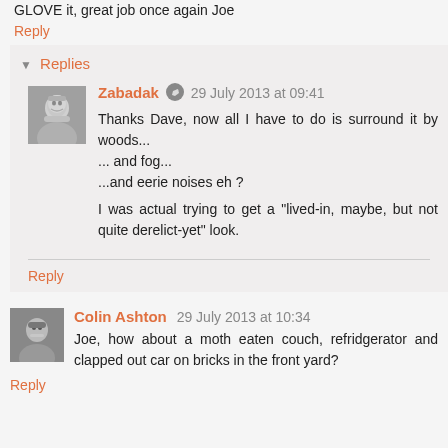GLOVE it, great job once again Joe
Reply
Replies
Zabadak  29 July 2013 at 09:41
Thanks Dave, now all I have to do is surround it by woods...
... and fog...
...and eerie noises eh ?

I was actual trying to get a "lived-in, maybe, but not quite derelict-yet" look.
Reply
Colin Ashton  29 July 2013 at 10:34
Joe, how about a moth eaten couch, refridgerator and clapped out car on bricks in the front yard?
Reply